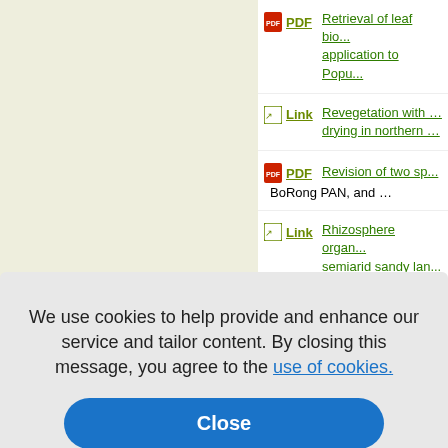[Figure (screenshot): Left beige/tan sidebar panel, blank content area]
PDF  Retrieval of leaf bio... application to Popu...
Link  Revegetation with... drying in northern...
PDF  Revision of two sp...
BoRong PAN, and...
Link  Rhizosphere organ... semiarid sandy lan...
...urrow plast... ...d economi... and Fucan...
...sessment o... ...ion method...
PDF  Robinia pseudoaca...
We use cookies to help provide and enhance our service and tailor content. By closing this message, you agree to the use of cookies.
Close